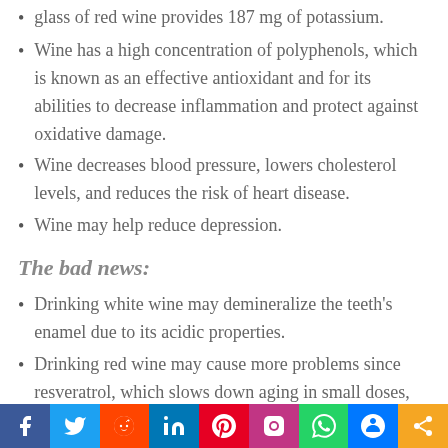glass of red wine provides 187 mg of potassium.
Wine has a high concentration of polyphenols, which is known as an effective antioxidant and for its abilities to decrease inflammation and protect against oxidative damage.
Wine decreases blood pressure, lowers cholesterol levels, and reduces the risk of heart disease.
Wine may help reduce depression.
The bad news:
Drinking white wine may demineralize the teeth's enamel due to its acidic properties.
Drinking red wine may cause more problems since resveratrol, which slows down aging in small doses,